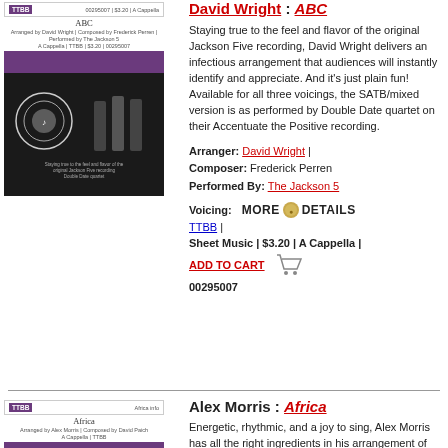[Figure (illustration): Book cover for ABC arranged by David Wright, TTBB a cappella. Purple header bar, dark background with circular emblem and silhouette figures.]
David Wright : ABC
Staying true to the feel and flavor of the original Jackson Five recording, David Wright delivers an infectious arrangement that audiences will instantly identify and appreciate. And it's just plain fun! Available for all three voicings, the SATB/mixed version is as performed by Double Date quartet on their Accentuate the Positive recording.
Arranger: David Wright | Composer: Frederick Perren Performed By: The Jackson 5
Voicing: MORE DETAILS TTBB | Sheet Music | $3.20 | A Cappella | ADD TO CART
00295007
[Figure (illustration): Book cover for Africa arranged by Alex Morris, TTBB a cappella. Purple header bar, dark background with circular emblem and light spots.]
Alex Morris : Africa
Energetic, rhythmic, and a joy to sing, Alex Morris has all the right ingredients in his arrangement of